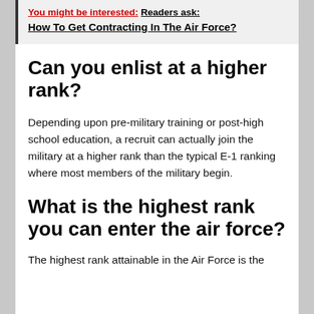You might be interested: Readers ask: How To Get Contracting In The Air Force?
Can you enlist at a higher rank?
Depending upon pre-military training or post-high school education, a recruit can actually join the military at a higher rank than the typical E-1 ranking where most members of the military begin.
What is the highest rank you can enter the air force?
The highest rank attainable in the Air Force is the